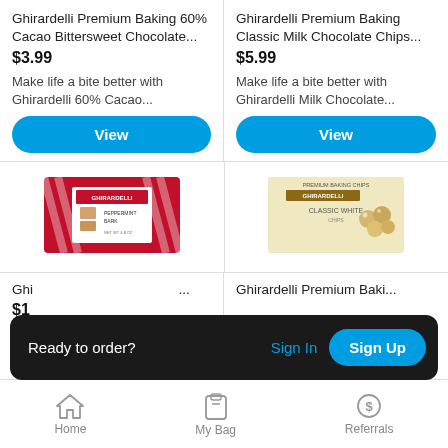Ghirardelli Premium Baking 60% Cacao Bittersweet Chocolate...
$3.99
Make life a bite better with Ghirardelli 60% Cacao...
View
Ghirardelli Premium Baking Classic Milk Chocolate Chips...
$5.99
Make life a bite better with Ghirardelli Milk Chocolate...
View
[Figure (photo): Ghirardelli peppermint bark chocolate bar in red and white striped packaging]
[Figure (photo): Ghirardelli Classic White premium baking chips in cream/yellow bag]
Ghirardelli Peppermint Bark B...
Ghirardelli Premium Baki...
$1...
Ready to order?
Sign In
Sign Up
Home
My Bag
Referrals